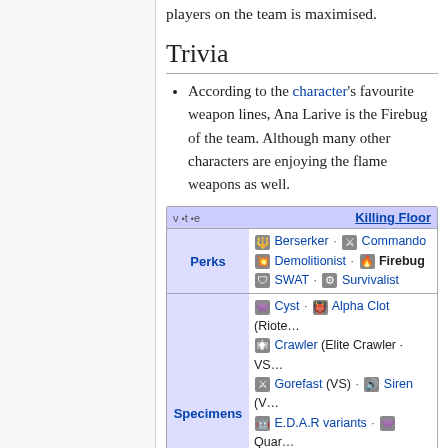players on the team is maximised.
Trivia
According to the character's favourite weapon lines, Ana Larive is the Firebug of the team. Although many other characters are enjoying the flame weapons as well.
| v·t·e | Killing Floor |
| --- | --- |
| Perks | Berserker · Commando · Demolitionist · Firebug · SWAT · Survivalist |
| Specimens | Cyst · Alpha Clot (Rioter) · Crawler (Elite Crawler · VS) · Gorefast (VS) · Siren (V...) · E.D.A.R variants · Quar... · Fleshpound (VS)
Bosses (Patriarch (VS) · King Fleshpound · Abor...) |